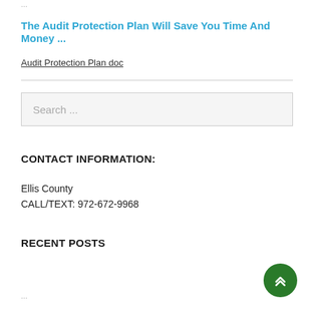...
The Audit Protection Plan Will Save You Time And Money ...
Audit Protection Plan doc
Search ...
CONTACT INFORMATION:
Ellis County
CALL/TEXT: 972-672-9968
RECENT POSTS
...